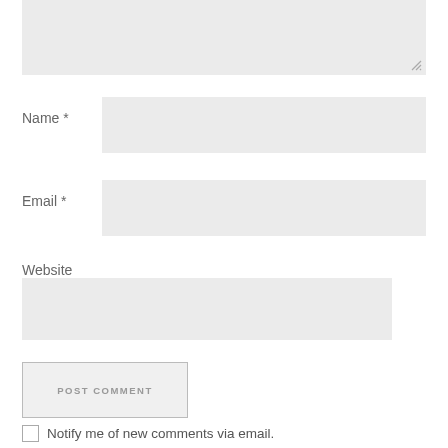[Figure (screenshot): A comment form textarea (empty, resizable) at the top of the page]
Name *
[Figure (screenshot): Name input field (empty text box)]
Email *
[Figure (screenshot): Email input field (empty text box)]
Website
[Figure (screenshot): Website input field (empty text box)]
POST COMMENT
Notify me of new comments via email.